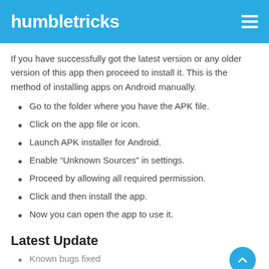humbletricks
If you have successfully got the latest version or any older version of this app then proceed to install it. This is the method of installing apps on Android manually.
Go to the folder where you have the APK file.
Click on the app file or icon.
Launch APK installer for Android.
Enable “Unknown Sources” in settings.
Proceed by allowing all required permission.
Click and then install the app.
Now you can open the app to use it.
Latest Update
Known bugs fixed